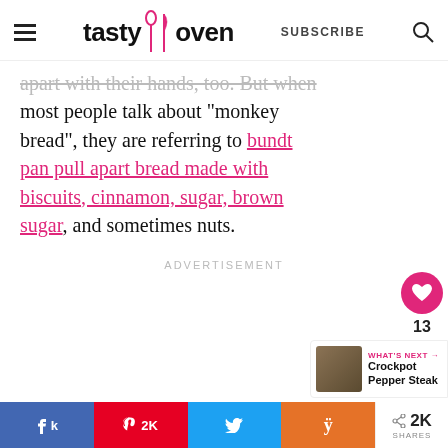tasty oven | SUBSCRIBE
apart with their hands, too. But when most people talk about "monkey bread", they are referring to bundt pan pull apart bread made with biscuits, cinnamon, sugar, brown sugar, and sometimes nuts.
ADVERTISEMENT
13
WHAT'S NEXT → Crockpot Pepper Steak
2K SHARES